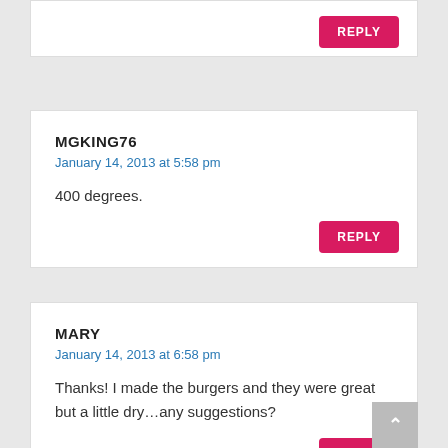MGKING76
January 14, 2013 at 5:58 pm
400 degrees.
MARY
January 14, 2013 at 6:58 pm
Thanks! I made the burgers and they were great but a little dry…any suggestions?